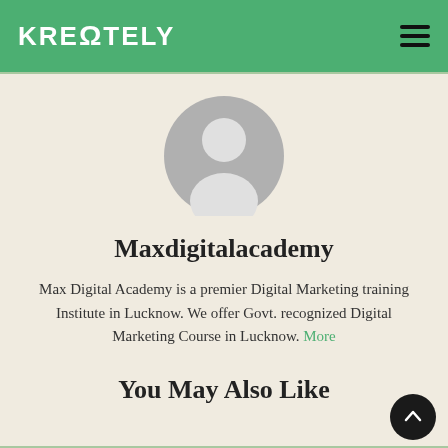KREΩTELY
[Figure (illustration): Circular grey default user avatar/profile picture placeholder]
Maxdigitalacademy
Max Digital Academy is a premier Digital Marketing training Institute in Lucknow. We offer Govt. recognized Digital Marketing Course in Lucknow. More
You May Also Like